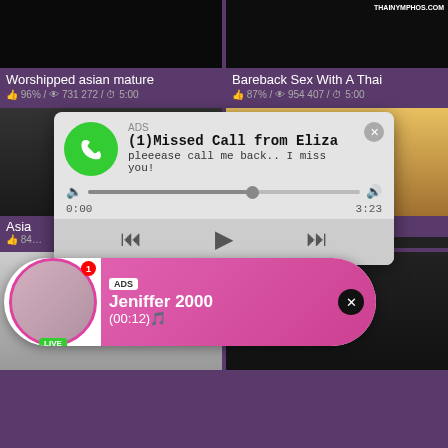[Figure (screenshot): Video thumbnail grid of adult content website with two popup ads overlaid: a missed call notification and a live stream notification]
Worshipped asian mature
👍 96% / 👁 731 272 / ⏱ 5:00
Bareback Sex With A Thai
👍 87% / 👁 954 407 / ⏱ 5:00
VOYEURBOSS.COM
THAINYMPHOS.COM
ADS
(1)Missed Call from Eliza
pleeease call me back.. I miss you!
0:00  3:23
Asia... her
👍 84...
ADS
Jeniffer 2000
(00:12)🎵
LIVE